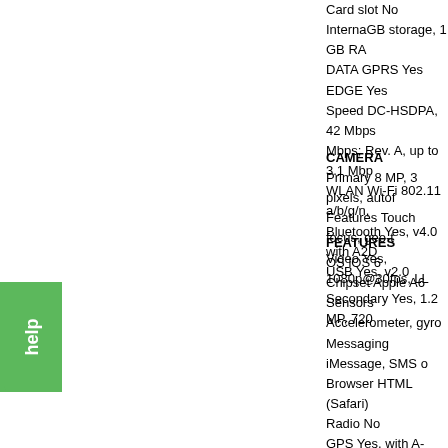Card slot No
InternaGB storage, 1 GB RA...
DATA GPRS Yes
EDGE Yes
Speed DC-HSDPA, 42 Mbps... Mbps; Rev. A, up to 3.1 Mbp...
WLAN Wi-Fi 802.11 a/b/g/n,...
Bluetooth Yes, v4.0 with A2D...
USB Yes, v2.0
CAMERA
Primary 8 MP, 3 pixels, autof...
Features Touch focus, geo-t...
Video Yes, 1080p@30fps, LL...
Secondary Yes, 1.2 MP, 720...
FEATURES
OS iOS 6
Chipset Apple A6
Sensors Accelerometer, gyro...
Messaging iMessage, SMS o...
Browser HTML (Safari)
Radio No
GPS Yes, with A-GPS suppo...
Java No
Colors Black/Slate, White/Si...
- nano-SIM card support onl...
- Active noise cancellation w...
- Siri natural language comm...
- iCloud cloud service
- Twitter and Facebook integ...
- TV-out
- Maps
- iBooks PDF reader
- Audio/video player and edit...
- Image editor
- Voice memo/command/dial...
[Figure (other): Green help button on left side]